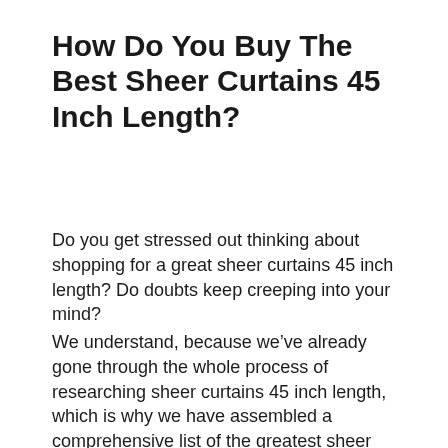How Do You Buy The Best Sheer Curtains 45 Inch Length?
Do you get stressed out thinking about shopping for a great sheer curtains 45 inch length? Do doubts keep creeping into your mind?
We understand, because we’ve already gone through the whole process of researching sheer curtains 45 inch length, which is why we have assembled a comprehensive list of the greatest sheer curtains 45 inch length available in the current market. We’ve also come up with a list of questions that you